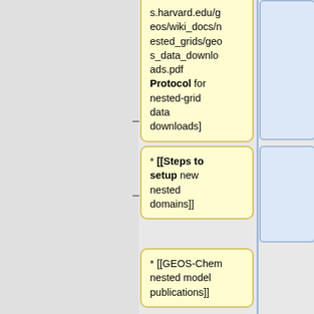s.harvard.edu/geos/wiki_docs/nested_grids/geos_data_downloads.pdf Protocol for nested-grid data downloads]
* [[Steps to setup new nested domains]]
* [[GEOS-Chem nested model publications]]
| <!-- ESMF -->
* [[Installing ESMF and other required